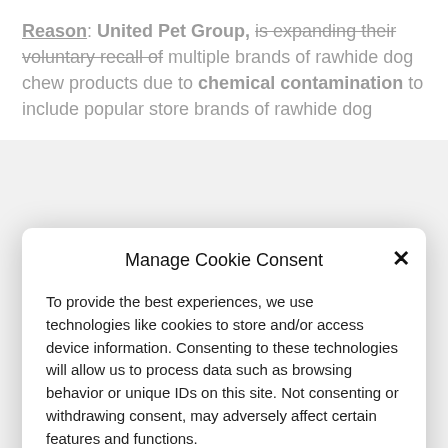Reason: United Pet Group, is expanding their voluntary recall of multiple brands of rawhide dog chew products due to chemical contamination to include popular store brands of rawhide dog
Manage Cookie Consent
To provide the best experiences, we use technologies like cookies to store and/or access device information. Consenting to these technologies will allow us to process data such as browsing behavior or unique IDs on this site. Not consenting or withdrawing consent, may adversely affect certain features and functions.
Accept
Deny
View preferences